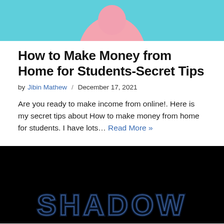[Figure (photo): Top portion of a person in a pink outfit against a teal/cyan background, visible from torso down, image cropped at top]
How to Make Money from Home for Students-Secret Tips
by Jibin Mathew / December 17, 2021
Are you ready to make income from online!. Here is my secret tips about How to make money from home for students. I have lots… Read More »
[Figure (photo): Black background image with glowing outlined text reading SHADOW in a blue neon/outline style]